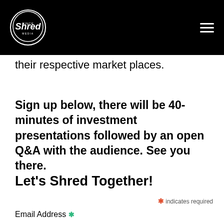Shred Media logo and navigation menu
their respective market places.
Sign up below, there will be 40-minutes of investment presentations followed by an open Q&A with the audience. See you there.
Let's Shred Together!
* indicates required
Email Address *